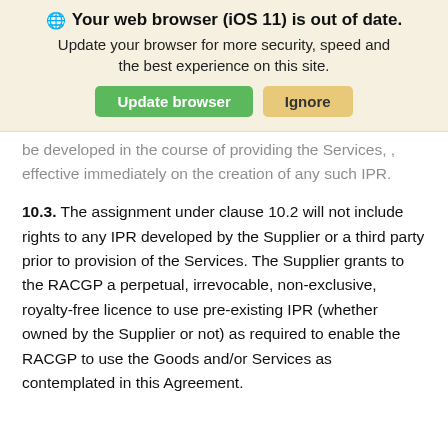[Figure (screenshot): Browser update notification banner with globe icon, bold title 'Your web browser (iOS 11) is out of date.', subtitle text, and two buttons: 'Update browser' (green) and 'Ignore' (tan/yellow)]
be developed in the course of providing the Services, , effective immediately on the creation of any such IPR.
10.3. The assignment under clause 10.2 will not include rights to any IPR developed by the Supplier or a third party prior to provision of the Services. The Supplier grants to the RACGP a perpetual, irrevocable, non-exclusive, royalty-free licence to use pre-existing IPR (whether owned by the Supplier or not) as required to enable the RACGP to use the Goods and/or Services as contemplated in this Agreement.